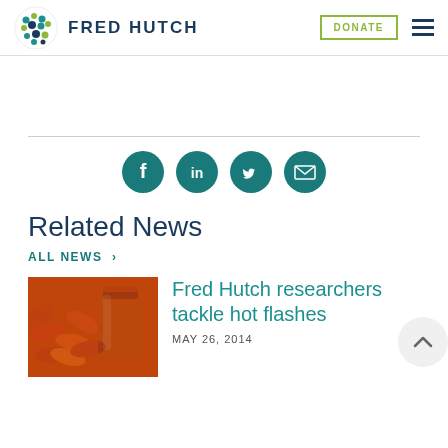FRED HUTCH
[Figure (illustration): Social sharing icons: Facebook, LinkedIn, Twitter, Email — teal circles with white icons]
Related News
ALL NEWS >
[Figure (photo): Red/orange supplement capsules spilling out of an orange pill bottle]
Fred Hutch researchers tackle hot flashes
MAY 26, 2014